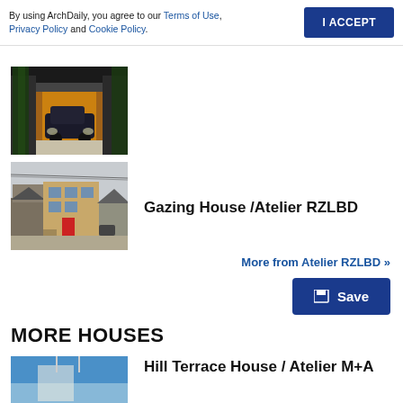By using ArchDaily, you agree to our Terms of Use, Privacy Policy and Cookie Policy.
I ACCEPT
[Figure (photo): Exterior driveway/garage photo of a modern house at night, with warm interior lighting visible through the carport opening and lush green trees on either side.]
Gazing House /Atelier RZLBD
[Figure (photo): Street-facing exterior photo of the Gazing House by Atelier RZLBD, a modern two-storey infill with beige/tan siding, a red front door, and neighboring older houses visible.]
More from Atelier RZLBD »
Save
MORE HOUSES
[Figure (photo): Partial thumbnail showing a blue-toned exterior photo of Hill Terrace House.]
Hill Terrace House / Atelier M+A